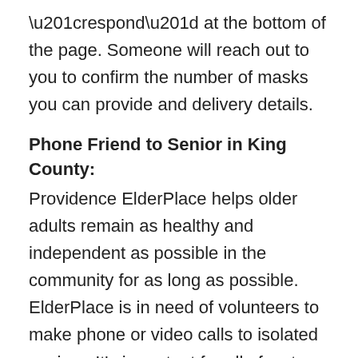“respond” at the bottom of the page. Someone will reach out to you to confirm the number of masks you can provide and delivery details.
Phone Friend to Senior in King County:
Providence ElderPlace helps older adults remain as healthy and independent as possible in the community for as long as possible. ElderPlace is in need of volunteers to make phone or video calls to isolated seniors. It’s important for all of us to have someone to talk to, especially during this very isolating and difficult time.  Volunteers build relationships with seniors in the community, making calls once or twice a week. Must be 18 or older. For more information or to respond to the call, click here.